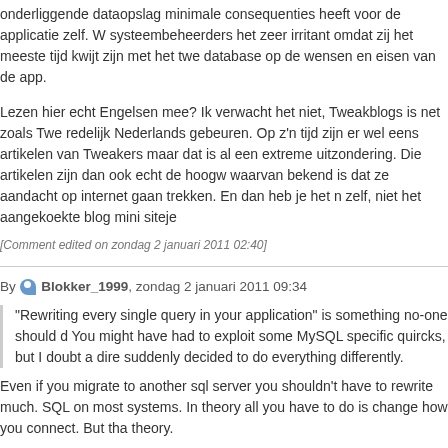onderliggende dataopslag minimale consequenties heeft voor de applicatie zelf. W systeembeheerders het zeer irritant omdat zij het meeste tijd kwijt zijn met het twee database op de wensen en eisen van de app.
Lezen hier echt Engelsen mee? Ik verwacht het niet, Tweakblogs is net zoals Twe redelijk Nederlands gebeuren. Op z'n tijd zijn er wel eens artikelen van Tweakers maar dat is al een extreme uitzondering. Die artikelen zijn dan ook echt de hoogw waarvan bekend is dat ze aandacht op internet gaan trekken. En dan heb je het n zelf, niet het aangekoekte blog mini siteje
[Comment edited on zondag 2 januari 2011 02:40]
By Blokker_1999, zondag 2 januari 2011 09:34
"Rewriting every single query in your application" is something no-one should d You might have had to exploit some MySQL specific quircks, but I doubt a dire suddenly decided to do everything differently.
Even if you migrate to another sql server you shouldn't have to rewrite much. SQL on most systems. In theory all you have to do is change how you connect. But tha theory.
By BitProcessor, zondag 2 januari 2011 10:19
@Blokker_1999 : ik begrijp dat je in 't Engels wil schrijven, maar OFF course is no enkele F hoor :-)